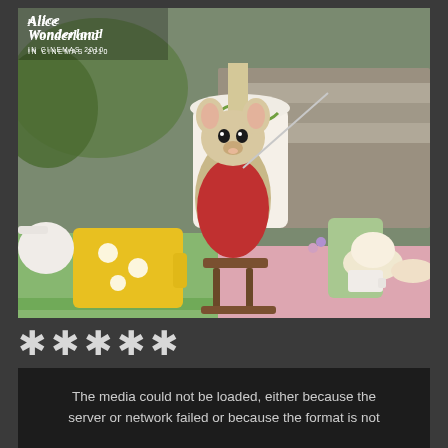[Figure (photo): Alice in Wonderland (In Cinemas 2010) movie promotional still showing a CGI dormouse character dressed in a red coat holding a sword-like stick, standing on a small stool at a tea party table with teacups, cakes, and tableware visible]
*****
The media could not be loaded, either because the server or network failed or because the format is not